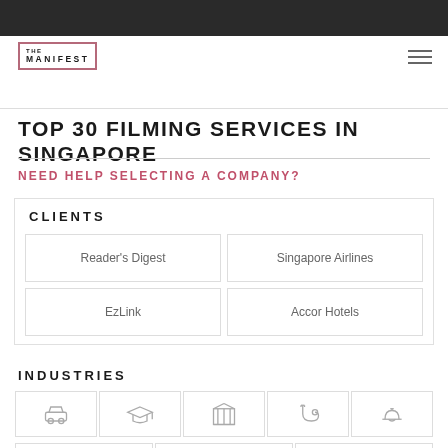THE MANIFEST
TOP 30 FILMING SERVICES IN SINGAPORE
NEED HELP SELECTING A COMPANY?
CLIENTS
Reader's Digest
Singapore Airlines
EzLink
Accor Hotels
INDUSTRIES
[Figure (infographic): Industry icons row 1: automotive/car, education/graduation cap, government/building columns, medical/stethoscope, hospitality/service bell]
[Figure (infographic): Industry icons row 2: agriculture/nature, tools/wrench, communications/microphone]